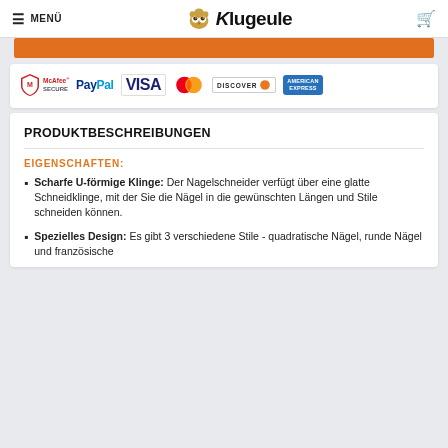MENÜ | Klugeule
[Figure (logo): Payment provider logos: McAfee Secure, PayPal, VISA, Mastercard, Discover, American Express]
PRODUKTBESCHREIBUNGEN
EIGENSCHAFTEN:
Scharfe U-förmige Klinge: Der Nagelschneider verfügt über eine glatte Schneidklinge, mit der Sie die Nägel in die gewünschten Längen und Stile schneiden können.
Spezielles Design: Es gibt 3 verschiedene Stile - quadratische Nägel, runde Nägel und französische